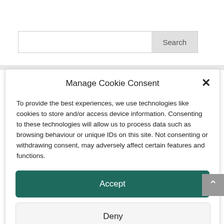[Figure (screenshot): Search bar input field with 'Search' button on the right, gray button style]
Manage Cookie Consent
To provide the best experiences, we use technologies like cookies to store and/or access device information. Consenting to these technologies will allow us to process data such as browsing behaviour or unique IDs on this site. Not consenting or withdrawing consent, may adversely affect certain features and functions.
Accept
Deny